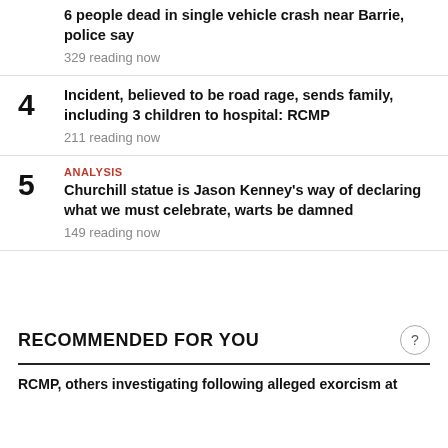6 people dead in single vehicle crash near Barrie, police say
329 reading now
4 Incident, believed to be road rage, sends family, including 3 children to hospital: RCMP
211 reading now
5 ANALYSIS Churchill statue is Jason Kenney's way of declaring what we must celebrate, warts be damned
149 reading now
RECOMMENDED FOR YOU
RCMP, others investigating following alleged exorcism at